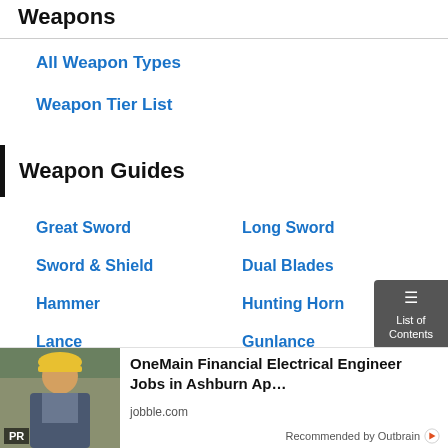Weapons
All Weapon Types
Weapon Tier List
Weapon Guides
Great Sword
Long Sword
Sword & Shield
Dual Blades
Hammer
Hunting Horn
Lance
Gunlance
[Figure (infographic): Advertisement: OneMain Financial Electrical Engineer Jobs in Ashburn Ap... jobble.com — Recommended by Outbrain. Shows a worker in a hard hat.]